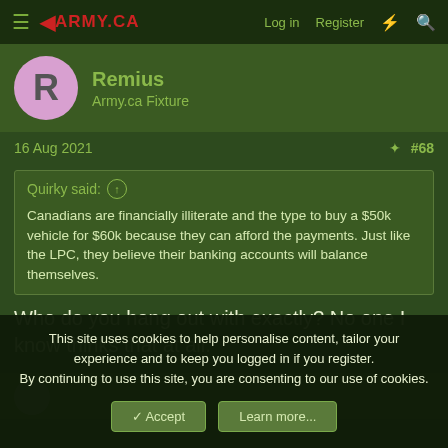ARMY.CA — Log in | Register
Remius
Army.ca Fixture
16 Aug 2021  #68
Quirky said: ↑
Canadians are financially illiterate and the type to buy a $50k vehicle for $60k because they can afford the payments. Just like the LPC, they believe their banking accounts will balance themselves.
Who do you hang out with exactly? No one I know thinks that at all.
This site uses cookies to help personalise content, tailor your experience and to keep you logged in if you register.
By continuing to use this site, you are consenting to our use of cookies.